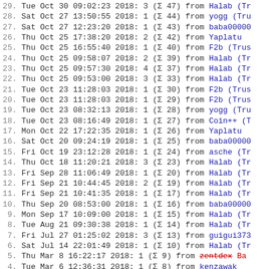29. Tue Oct 30 09:02:23 2018: 3 (Σ 47) from Halab (Tr
28. Sat Oct 27 13:50:55 2018: 1 (Σ 44) from yogg (Tru
27. Sat Oct 27 12:23:20 2018: 1 (Σ 43) from baba00000
26. Thu Oct 25 17:38:20 2018: 2 (Σ 42) from Yaplatu
25. Thu Oct 25 16:55:40 2018: 1 (Σ 40) from F2b (Trus
24. Thu Oct 25 09:58:07 2018: 2 (Σ 39) from Halab (Tr
23. Thu Oct 25 09:57:30 2018: 4 (Σ 37) from Halab (Tr
22. Thu Oct 25 09:53:00 2018: 3 (Σ 33) from Halab (Tr
21. Tue Oct 23 11:28:03 2018: 1 (Σ 30) from F2b (Trus
20. Tue Oct 23 11:28:03 2018: 1 (Σ 29) from F2b (Trus
19. Tue Oct 23 08:32:13 2018: 1 (Σ 28) from yogg (Tru
18. Tue Oct 23 08:16:49 2018: 1 (Σ 27) from Coin++ (T
17. Mon Oct 22 17:22:35 2018: 1 (Σ 26) from Yaplatu
16. Sat Oct 20 09:24:19 2018: 1 (Σ 25) from baba00000
15. Fri Oct 19 23:12:28 2018: 1 (Σ 24) from asche (Tr
14. Thu Oct 18 11:20:21 2018: 3 (Σ 23) from Halab (Tr
13. Fri Sep 28 11:06:49 2018: 1 (Σ 20) from Halab (Tr
12. Fri Sep 21 10:44:45 2018: 2 (Σ 19) from Halab (Tr
11. Fri Sep 21 10:41:35 2018: 1 (Σ 17) from Halab (Tr
10. Thu Sep 20 08:53:00 2018: 1 (Σ 16) from baba00000
9. Mon Sep 17 10:09:00 2018: 1 (Σ 15) from Halab (Tr
8. Tue Aug 21 09:30:38 2018: 1 (Σ 14) from Halab (Tr
7. Fri Jul 27 01:25:02 2018: 3 (Σ 13) from guigui373
6. Sat Jul 14 22:01:49 2018: 1 (Σ 10) from Halab (Tr
5. Thu Mar  8 16:22:17 2018: 1 (Σ 9) from zentdex Banned
4. Tue Mar  6 12:36:31 2018: 1 (Σ 8) from kenzawak
3. Thu Feb  1 16:35:41 2018: 5 (Σ 7) from ZenF+ Banned
2. Thu Feb  1 11:50:30 2018: 1 (Σ 2) from Irlasos (Tr
1. Thu Feb  1 09:24:55 2018: 1 (Σ 1) from emile12 (Tr